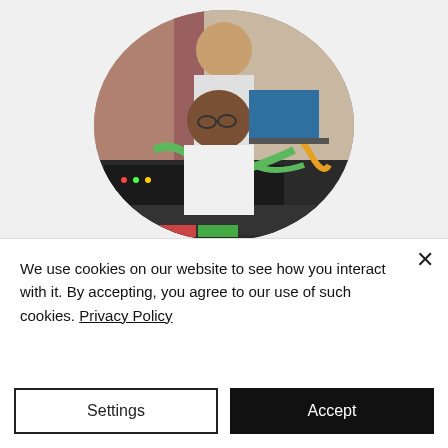[Figure (photo): Circular-cropped photo of two people working with industrial networking equipment and a laptop, green cables visible, appears to be a PROFINET training session.]
PROFINET Training
The acquired knowledge of PROFINET enables businesses to organize & execute projects better,
We use cookies on our website to see how you interact with it. By accepting, you agree to our use of such cookies. Privacy Policy